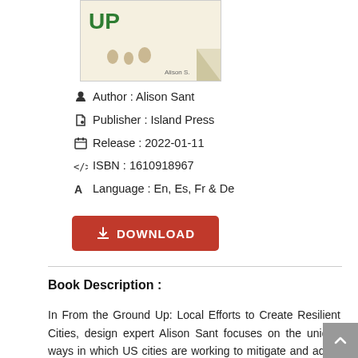[Figure (illustration): Book cover thumbnail showing children playing, with green 'UP' text visible and 'Alison S.' author name at bottom right]
Author : Alison Sant
Publisher : Island Press
Release : 2022-01-11
ISBN : 1610918967
Language : En, Es, Fr & De
DOWNLOAD
Book Description :
In From the Ground Up: Local Efforts to Create Resilient Cities, design expert Alison Sant focuses on the unique ways in which US cities are working to mitigate and adapt to climate change while creating equitable and livable communities. Sant presents 12 case studies,